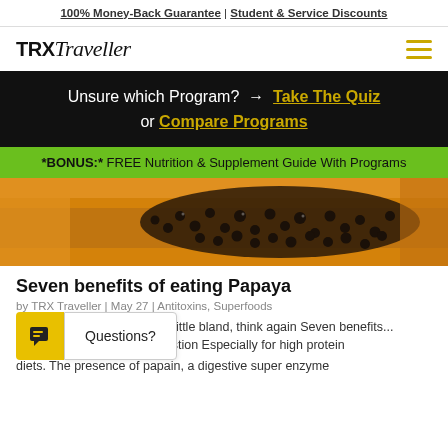100% Money-Back Guarantee | Student & Service Discounts
[Figure (logo): TRX Traveller logo with hamburger menu icon]
Unsure which Program? → Take The Quiz or Compare Programs
*BONUS:* FREE Nutrition & Supplement Guide With Programs
[Figure (photo): Close-up photo of papaya seeds on orange papaya flesh]
Seven benefits of eating Papaya
by TRX Traveller | May 27 | Antitoxins, Superfoods
...ay...as a little bland, think again Seven benefits...l Digestion Especially for high protein diets. The presence of papain, a digestive super enzyme